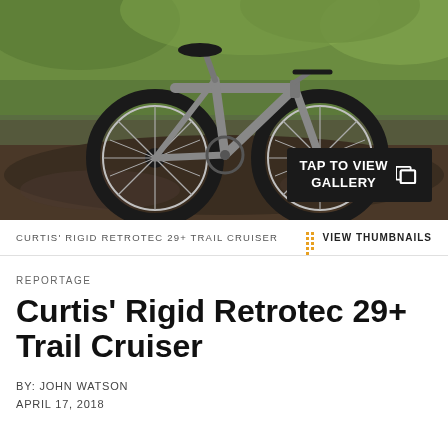[Figure (photo): A gray/silver Retrotec rigid hardtail mountain bike with 29+ wheels parked on a gravel/dirt path with green grass in the background. A 'TAP TO VIEW GALLERY' button overlaid in bottom-right corner.]
CURTIS' RIGID RETROTEC 29+ TRAIL CRUISER    ::: VIEW THUMBNAILS
REPORTAGE
Curtis' Rigid Retrotec 29+ Trail Cruiser
BY: JOHN WATSON
APRIL 17, 2018